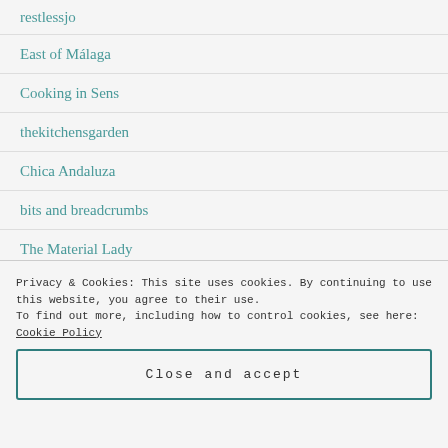restlessjo
East of Málaga
Cooking in Sens
thekitchensgarden
Chica Andaluza
bits and breadcrumbs
The Material Lady
Privacy & Cookies: This site uses cookies. By continuing to use this website, you agree to their use. To find out more, including how to control cookies, see here: Cookie Policy
Close and accept
Food, Photography & France